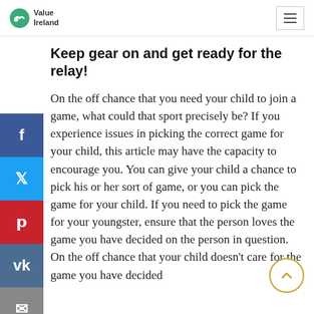Value Ireland
Keep gear on and get ready for the relay!
On the off chance that you need your child to join a game, what could that sport precisely be? If you experience issues in picking the correct game for your child, this article may have the capacity to encourage you. You can give your child a chance to pick his or her sort of game, or you can pick the game for your child. If you need to pick the game for your youngster, ensure that the person loves the game you have decided on the person in question. On the off chance that your child doesn't care for the game you have decided